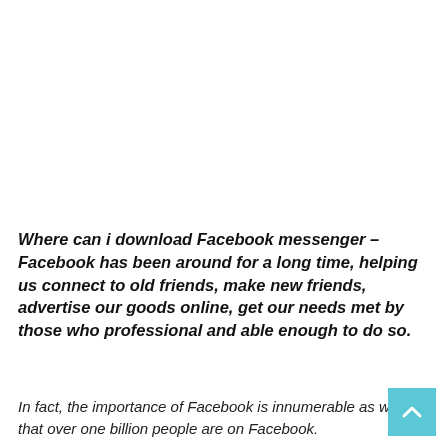Where can i download Facebook messenger – Facebook has been around for a long time, helping us connect to old friends, make new friends, advertise our goods online, get our needs met by those who professional and able enough to do so.
In fact, the importance of Facebook is innumerable as we find that over one billion people are on Facebook.